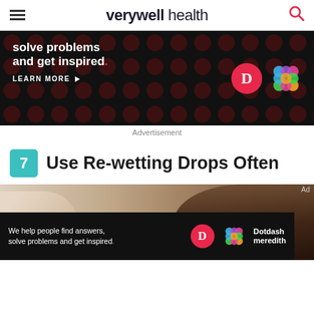verywell health
[Figure (photo): Advertisement banner: dark background with red dots pattern, text 'solve problems and get inspired.' with LEARN MORE button and Dotdash Meredith logos]
Advertisement
7  Use Re-wetting Drops Often
[Figure (photo): Close-up photo of a person putting eye drops in their eye, hand holding a dropper bottle near the eye]
[Figure (photo): Bottom advertisement banner: 'We help people find answers, solve problems and get inspired.' with Dotdash Meredith logo]